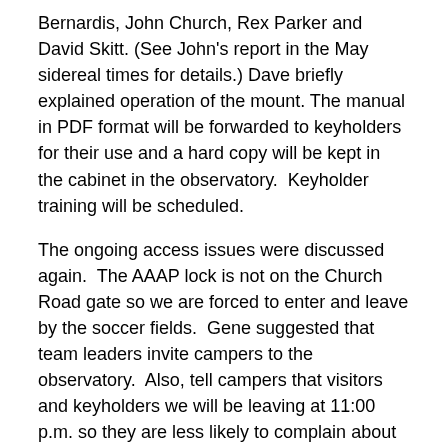Bernardis, John Church, Rex Parker and David Skitt. (See John's report in the May sidereal times for details.) Dave briefly explained operation of the mount. The manual in PDF format will be forwarded to keyholders for their use and a hard copy will be kept in the cabinet in the observatory.  Keyholder training will be scheduled.
The ongoing access issues were discussed again.  The AAAP lock is not on the Church Road gate so we are forced to enter and leave by the soccer fields.  Gene suggested that team leaders invite campers to the observatory.  Also, tell campers that visitors and keyholders we will be leaving at 11:00 p.m. so they are less likely to complain about us leaving via the soccer fields.
Everyone should avoid parking on the grass because it is